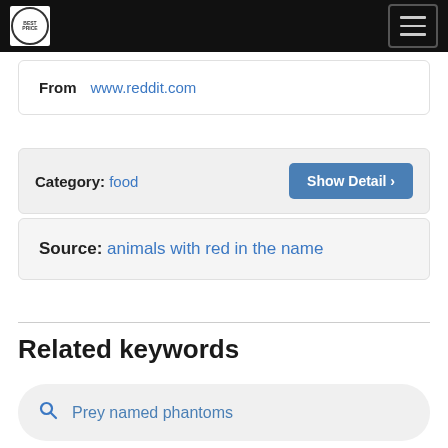Navigation bar with logo and hamburger menu
From  www.reddit.com
Category: food  Show Detail ›
Source: animals with red in the name
Related keywords
Prey named phantoms